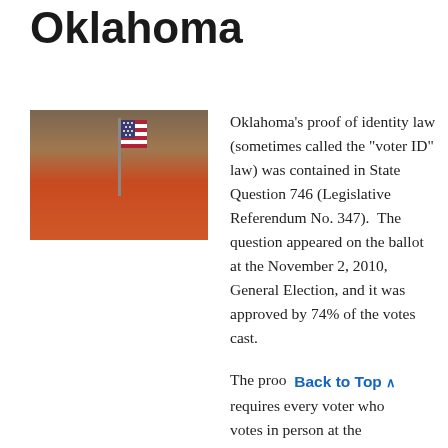Oklahoma
[Figure (photo): Photo of a person holding a small American flag at a table, with papers and a red jacket visible]
Oklahoma's proof of identity law (sometimes called the "voter ID" law) was contained in State Question 746 (Legislative Referendum No. 347).  The question appeared on the ballot at the November 2, 2010, General Election, and it was approved by 74% of the votes cast.
The proo  Back to Top ^  requires every voter who votes in person at the